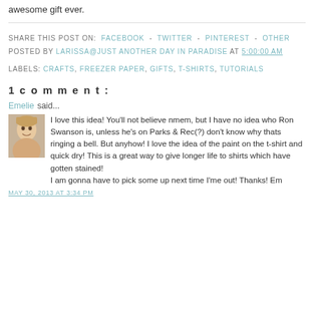awesome gift ever.
SHARE THIS POST ON: FACEBOOK - TWITTER - PINTEREST - OTHER
POSTED BY LARISSA@JUST ANOTHER DAY IN PARADISE AT 5:00:00 AM
LABELS: CRAFTS, FREEZER PAPER, GIFTS, T-SHIRTS, TUTORIALS
1 comment:
Emelie said...
I love this idea! You'll not believe nmem, but I have no idea who Ron Swanson is, unless he's on Parks & Rec(?) don't know why thats ringing a bell. But anyhow! I love the idea of the paint on the t-shirt and quick dry! This is a great way to give longer life to shirts which have gotten stained!
I am gonna have to pick some up next time I'me out! Thanks! Em
MAY 30, 2013 AT 3:34 PM